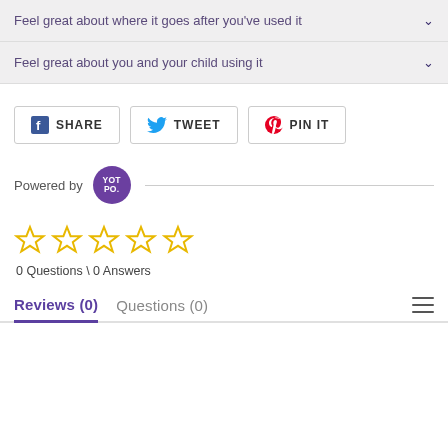Feel great about where it goes after you've used it
Feel great about you and your child using it
[Figure (infographic): Social sharing buttons: Facebook Share, Twitter Tweet, Pinterest Pin It]
Powered by YOT PO.
[Figure (other): Five empty star rating icons (yellow outline stars), 0 Questions \ 0 Answers]
0 Questions \ 0 Answers
Reviews (0)   Questions (0)